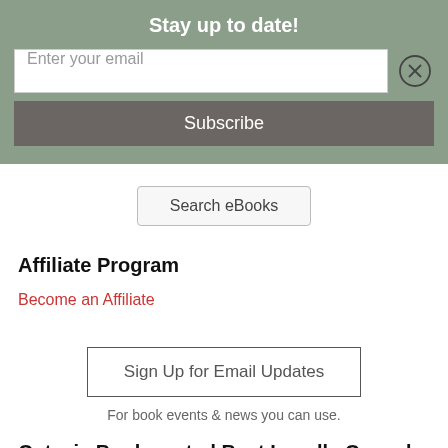Stay up to date!
Enter your email
Subscribe
Search eBooks
Affiliate Program
Become an Affiliate
Sign Up for Email Updates
For book events & news you can use.
Octavia Books voted Best Locally Owned